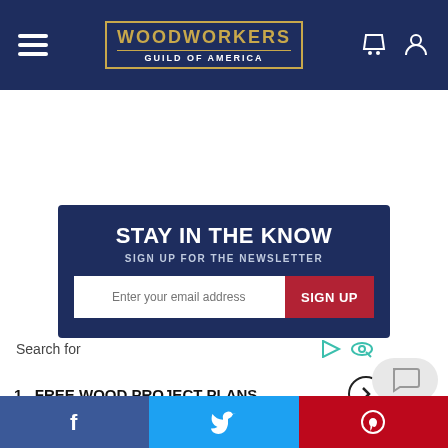Woodworkers Guild of America
[Figure (screenshot): Newsletter signup banner with dark navy background, STAY IN THE KNOW heading, SIGN UP FOR THE NEWSLETTER subheading, email input field and red SIGN UP button]
Search for
1. FREE WOOD PROJECT PLANS
[Figure (other): Social sharing bar at bottom with Facebook, Twitter, and Pinterest icons]
Facebook | Twitter | Pinterest